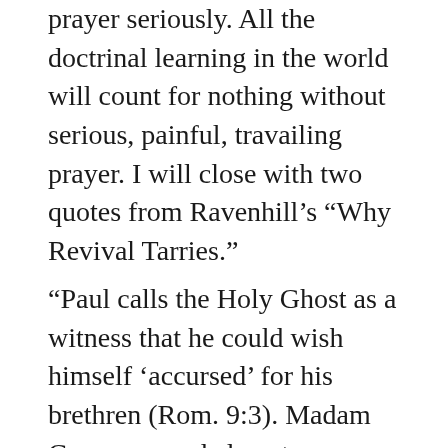prayer seriously. All the doctrinal learning in the world will count for nothing without serious, painful, travailing prayer. I will close with two quotes from Ravenhill's “Why Revival Tarries.”
“Paul calls the Holy Ghost as a witness that he could wish himself ‘accursed’ for his brethren (Rom. 9:3). Madam Guyon prayed almost an identical prayer. Brainerd and John Knox were ‘men of like